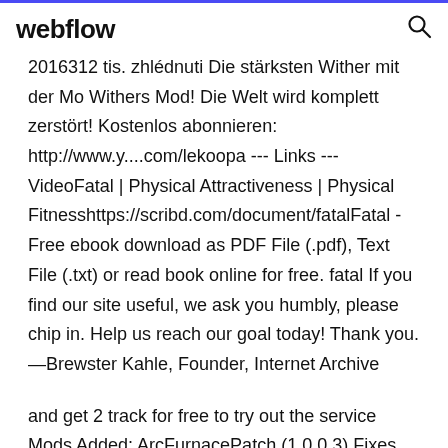webflow
2016312 tis. zhlédnuti Die stärksten Wither mit der Mo Withers Mod! Die Welt wird komplett zerstört! Kostenlos abonnieren: http://www.y....com/lekoopa --- Links --- VideoFatal | Physical Attractiveness | Physical Fitnesshttps://scribd.com/document/fatalFatal - Free ebook download as PDF File (.pdf), Text File (.txt) or read book online for free. fatal If you find our site useful, we ask you humbly, please chip in. Help us reach our goal today! Thank you. —Brewster Kahle, Founder, Internet Archive
and get 2 track for free to try out the service Mods Added: ArcFurnacePatch (1.0.0.3) Fixes